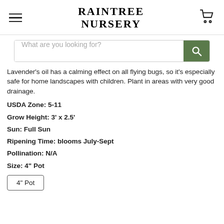RAINTREE NURSERY
Lavender's oil has a calming effect on all flying bugs, so it's especially safe for home landscapes with children. Plant in areas with very good drainage.
USDA Zone: 5-11
Grow Height:  3' x 2.5'
Sun: Full Sun
Ripening Time: blooms July-Sept
Pollination: N/A
Size: 4" Pot
4" Pot